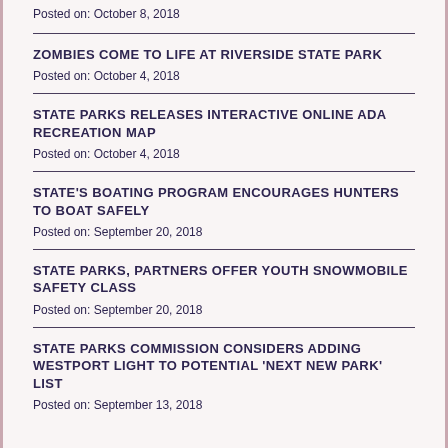Posted on: October 8, 2018
ZOMBIES COME TO LIFE AT RIVERSIDE STATE PARK
Posted on: October 4, 2018
STATE PARKS RELEASES INTERACTIVE ONLINE ADA RECREATION MAP
Posted on: October 4, 2018
STATE'S BOATING PROGRAM ENCOURAGES HUNTERS TO BOAT SAFELY
Posted on: September 20, 2018
STATE PARKS, PARTNERS OFFER YOUTH SNOWMOBILE SAFETY CLASS
Posted on: September 20, 2018
STATE PARKS COMMISSION CONSIDERS ADDING WESTPORT LIGHT TO POTENTIAL 'NEXT NEW PARK' LIST
Posted on: September 13, 2018